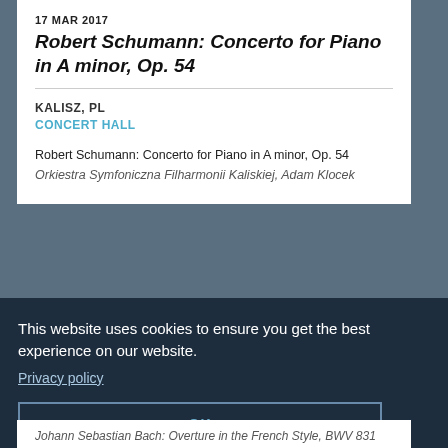17 MAR 2017
Robert Schumann: Concerto for Piano in A minor, Op. 54
KALISZ, PL
CONCERT HALL
Robert Schumann: Concerto for Piano in A minor, Op. 54
Orkiestra Symfoniczna Filharmonii Kaliskiej, Adam Klocek
This website uses cookies to ensure you get the best experience on our website.
Privacy policy
OK
Johann Sebastian Bach: Overture in the French Style, BWV 831